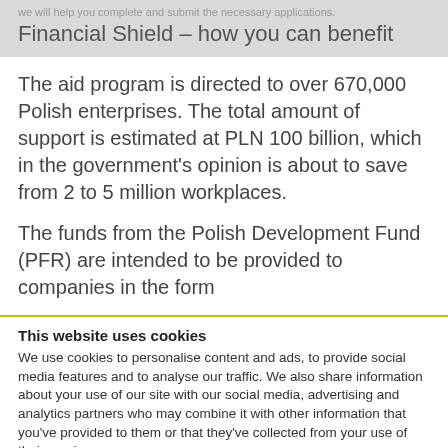we will help you complete and submit the necessary applications.
Financial Shield – how you can benefit
The aid program is directed to over 670,000 Polish enterprises. The total amount of support is estimated at PLN 100 billion, which in the government's opinion is about to save from 2 to 5 million workplaces.
The funds from the Polish Development Fund (PFR) are intended to be provided to companies in the form
This website uses cookies
We use cookies to personalise content and ads, to provide social media features and to analyse our traffic. We also share information about your use of our site with our social media, advertising and analytics partners who may combine it with other information that you've provided to them or that they've collected from your use of their services.
Allow